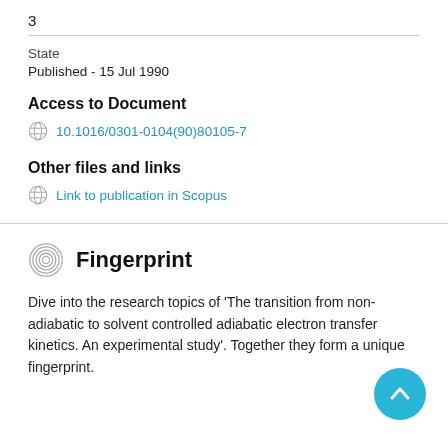3
State
Published - 15 Jul 1990
Access to Document
10.1016/0301-0104(90)80105-7
Other files and links
Link to publication in Scopus
Fingerprint
Dive into the research topics of 'The transition from non-adiabatic to solvent controlled adiabatic electron transfer kinetics. An experimental study'. Together they form a unique fingerprint.